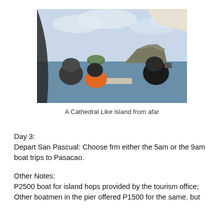[Figure (photo): View from a boat showing people seated facing the water, with two rocky/hilly islands visible in the distance under a cloudy sky. One person wears an orange life vest.]
A Cathedral Like island from afar
Day 3:
Depart San Pascual: Choose frm either the 5am or the 9am boat trips to Pasacao.
Other Notes:
P2500 boat for island hops provided by the tourism office; Other boatmen in the pier offered P1500 for the same, but